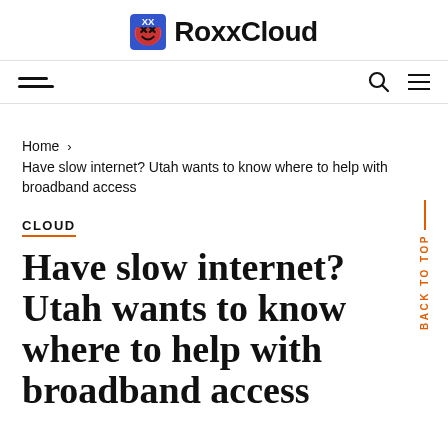RoxxCloud
Home > Have slow internet? Utah wants to know where to help with broadband access
CLOUD
Have slow internet? Utah wants to know where to help with broadband access